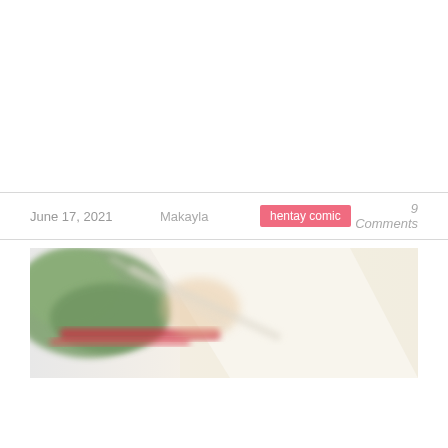June 17, 2021    Makayla    hentay comic    9 Comments
[Figure (photo): Blurred thumbnail image showing green and red colored shapes on a light/cream background, appearing to be an anime or comic illustration]